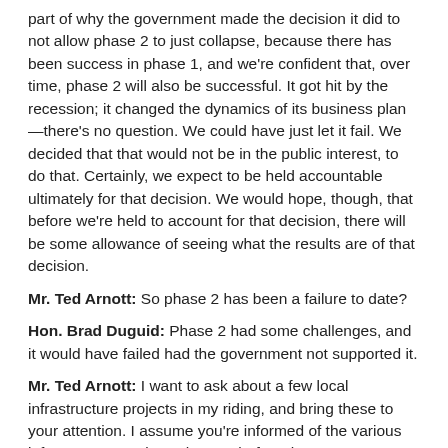part of why the government made the decision it did to not allow phase 2 to just collapse, because there has been success in phase 1, and we're confident that, over time, phase 2 will also be successful. It got hit by the recession; it changed the dynamics of its business plan—there's no question. We could have just let it fail. We decided that that would not be in the public interest, to do that. Certainly, we expect to be held accountable ultimately for that decision. We would hope, though, that before we're held to account for that decision, there will be some allowance of seeing what the results are of that decision.
Mr. Ted Arnott: So phase 2 has been a failure to date?
Hon. Brad Duguid: Phase 2 had some challenges, and it would have failed had the government not supported it.
Mr. Ted Arnott: I want to ask about a few local infrastructure projects in my riding, and bring these to your attention. I assume you're informed of the various infrastructure projects that are before the government's